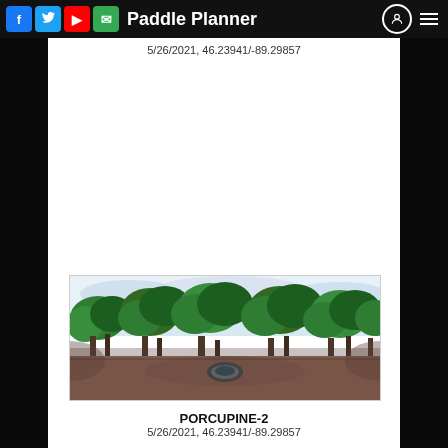Paddle Planner
5/26/2021, 46.23941/-89.29857
[Figure (photo): 360-degree panoramic photo of a campsite showing green trees, clearing with dirt ground, fire ring, and overcast sky]
PORCUPINE-2
5/26/2021, 46.23941/-89.29857